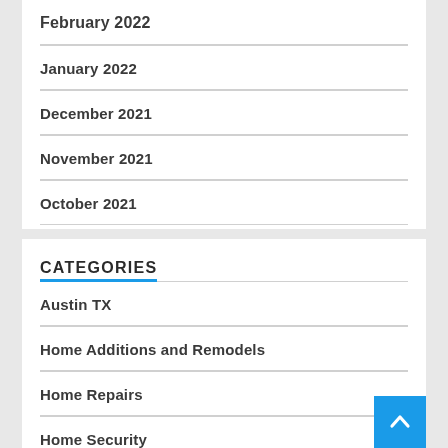February 2022
January 2022
December 2021
November 2021
October 2021
CATEGORIES
Austin TX
Home Additions and Remodels
Home Repairs
Home Security
Roofing